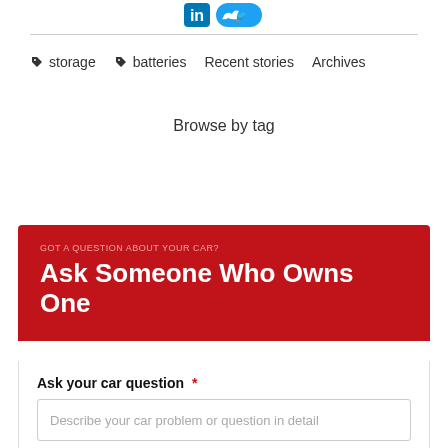[Figure (logo): Social media icons (Facebook/LinkedIn and Twitter) partially visible at top]
storage   batteries   Recent stories   Archives
Browse by tag
GOT A QUESTION ABOUT YOUR CAR?
Ask Someone Who Owns One
Ask your car question *
Describe your car problem or question in detail